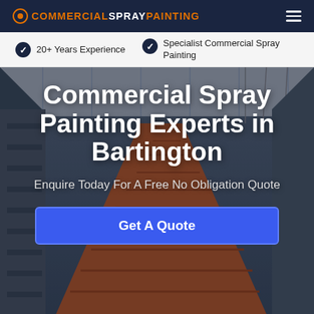COMMERCIALSPRAYPAINTING
20+ Years Experience
Specialist Commercial Spray Painting
[Figure (photo): Interior industrial building with orange structural elements and scaffolding, used as hero background for commercial spray painting website]
Commercial Spray Painting Experts in Bartington
Enquire Today For A Free No Obligation Quote
Get A Quote